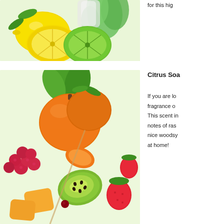[Figure (photo): Photo of lemons, limes, and mint leaves on a light green background]
for this high...
Citrus Soa...
[Figure (photo): Photo of assorted tropical and berry fruits including oranges, raspberries, kiwi, strawberries, and melon on skewers on a light green background]
If you are lo... fragrance o... This scent in... notes of ras... nice woodsy... at home!